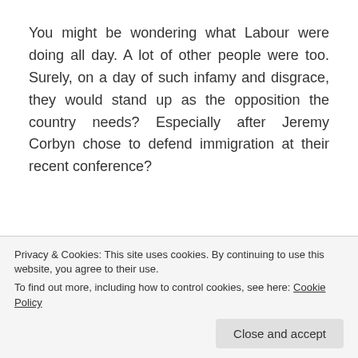You might be wondering what Labour were doing all day. A lot of other people were too. Surely, on a day of such infamy and disgrace, they would stand up as the opposition the country needs? Especially after Jeremy Corbyn chose to defend immigration at their recent conference?
Eventually they tweeted this:
[Figure (screenshot): Partial screenshot of a tweet from Labour Press account showing account avatar (red circle with logo), account name 'Labour Press' with verified badge, and Twitter bird icon. Bottom of card is cut off and overlaid by cookie banner.]
Privacy & Cookies: This site uses cookies. By continuing to use this website, you agree to their use.
To find out more, including how to control cookies, see here: Cookie Policy
Close and accept